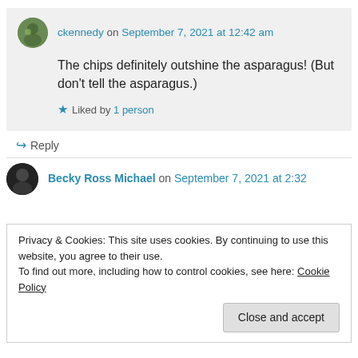ckennedy on September 7, 2021 at 12:42 am
The chips definitely outshine the asparagus! (But don't tell the asparagus.)
Liked by 1 person
Reply
Becky Ross Michael on September 7, 2021 at 2:32
Privacy & Cookies: This site uses cookies. By continuing to use this website, you agree to their use.
To find out more, including how to control cookies, see here: Cookie Policy
Close and accept